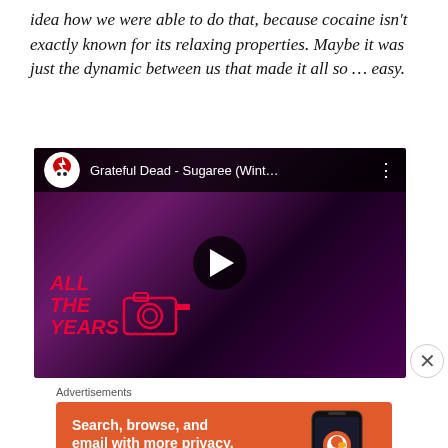idea how we were able to do that, because cocaine isn't exactly known for its relaxing properties. Maybe it was just the dynamic between us that made it all so ... easy.
[Figure (screenshot): Embedded YouTube video thumbnail showing 'Grateful Dead - Sugaree (Wint...' with play button overlay. Shows a performer in purple lighting with 'ALL THE YEARS' text overlay and a camera graphic on the left side.]
Advertisements
[Figure (screenshot): DuckDuckGo advertisement banner with orange background. Text reads 'Search, browse, and email with more privacy.' with 'All in One Free App' button. Shows DuckDuckGo app on a phone on the right side.]